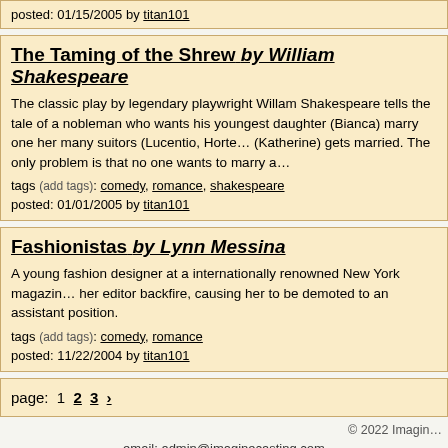posted: 01/15/2005 by titan101
The Taming of the Shrew by William Shakespeare
The classic play by legendary playwright Willam Shakespeare tells the tale of a nobleman who wants his youngest daughter (Bianca) marry one her many suitors (Lucentio, Hortensio...) but only after his eldest (Katherine) gets married. The only problem is that no one wants to marry a...
tags (add tags): comedy, romance, shakespeare
posted: 01/01/2005 by titan101
Fashionistas by Lynn Messina
A young fashion designer at a internationally renowned New York magazine has her attempts to undermine her editor backfire, causing her to be demoted to an assistant position.
tags (add tags): comedy, romance
posted: 11/22/2004 by titan101
page: 1 2 3 ›
© 2022 Imagin...
email: admin@imaginecasting.com